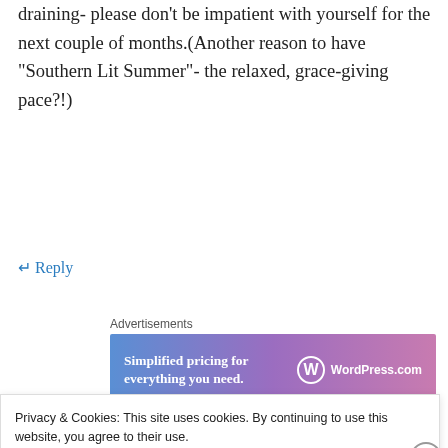draining- please don't be impatient with yourself for the next couple of months.(Another reason to have “Southern Lit Summer”- the relaxed, grace-giving pace?!)
↵ Reply
Advertisements
[Figure (other): WordPress.com advertisement banner: 'Simplified pricing for everything you need.' with WordPress.com logo]
magistramater on June 8, 2009 at 11:51 pm
Privacy & Cookies: This site uses cookies. By continuing to use this website, you agree to their use.
To find out more, including how to control cookies, see here: Cookie Policy
Close and accept